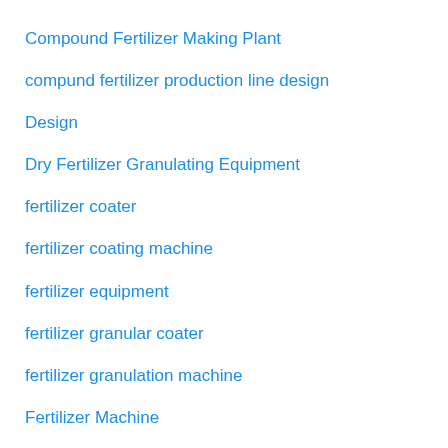Compound Fertilizer Making Plant
compund fertilizer production line design
Design
Dry Fertilizer Granulating Equipment
fertilizer coater
fertilizer coating machine
fertilizer equipment
fertilizer granular coater
fertilizer granulation machine
Fertilizer Machine
Fertilizer Making Factory